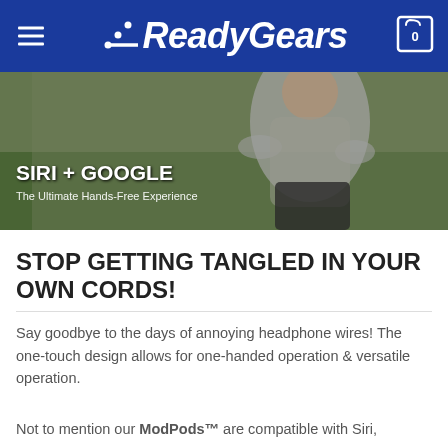ReadyGears
[Figure (photo): Woman jogging outdoors wearing a tie-dye top, with text overlay 'SIRI + GOOGLE - The Ultimate Hands-Free Experience']
STOP GETTING TANGLED IN YOUR OWN CORDS!
Say goodbye to the days of annoying headphone wires! The one-touch design allows for one-handed operation & versatile operation.
Not to mention our ModPods™ are compatible with Siri,